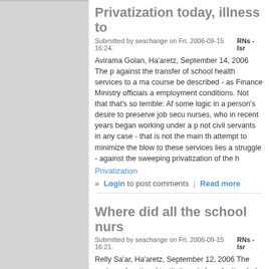Privatization today, illness to
Submitted by seachange on Fri, 2006-09-15 16:24.    RNs - Isr
Avirama Golan, Ha'aretz, September 14, 2006 The p against the transfer of school health services to a ma course be described - as Finance Ministry officials a employment conditions. Not that that's so terrible: Af some logic in a person's desire to preserve job secu nurses, who in recent years began working under a p not civil servants in any case - that is not the main th attempt to minimize the blow to these services lies a struggle - against the sweeping privatization of the h
Privatization
» Login to post comments | Read more
Where did all the school nurs
Submitted by seachange on Fri, 2006-09-15 16:21.    RNs - Isr
Relly Sa'ar, Ha'aretz, September 12, 2006 The vast m educational institutions in Israel, attended by more th junior high pupils, have a nurse's office. But for the p nurses offices are abandoned most days of the wee Education Ministry official responsible for health mat budget cuts have made it impossible to fund vital he immunizations against potentially fatal disease and f standards... Where